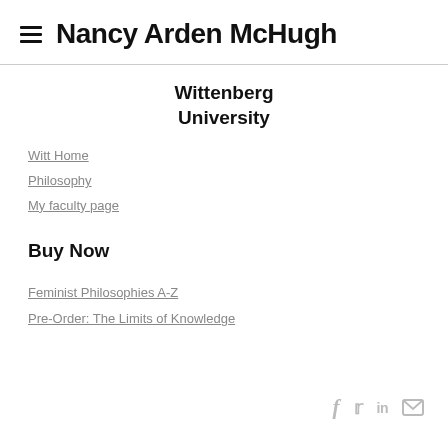Nancy Arden McHugh
Wittenberg University
Witt Home
Philosophy
My faculty page
Buy Now
Feminist Philosophies A-Z
Pre-Order: The Limits of Knowledge